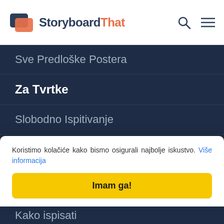StoryboardThat
Sve Predloške Postera
Za Tvrtke
Slobodno Ispitivanje
Poslovni Resursi
Stvorite za rad
Pridružite se Mojem Timu
Koristimo kolačiće kako bismo osigurali najbolje iskustvo. Više informacija
Imam ga!
Kako ispisati